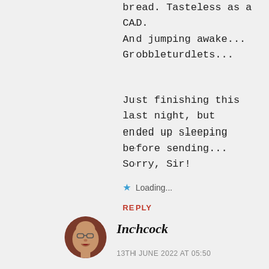bread. Tasteless as a CAD.
And jumping awake...
Grobbleturdlets...
Just finishing this last night, but ended up sleeping before sending...
Sorry, Sir!
★ Loading...
REPLY
[Figure (photo): Circular avatar photo of a bald elderly man]
Inchcock
13TH JUNE 2022 AT 05:50